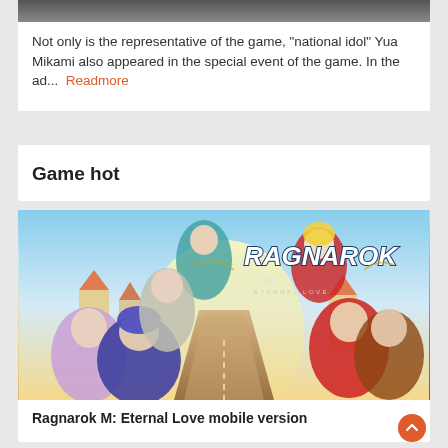Not only is the representative of the game, "national idol" Yua Mikami also appeared in the special event of the game. In the ad... Readmore
Game hot
[Figure (illustration): Ragnarok M: Eternal Love mobile game promotional artwork showing anime-style characters around the Ragnarok M Eternal Love logo with a fantasy town background]
Ragnarok M: Eternal Love mobile version